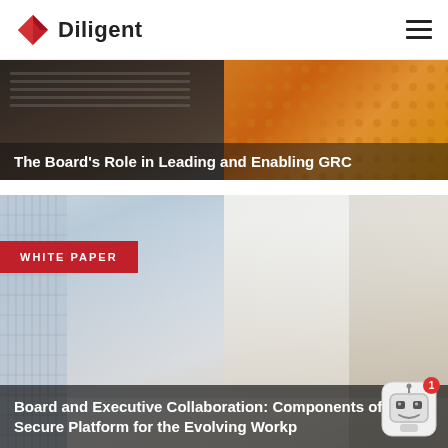Diligent
[Figure (photo): Hero banner with laptop in background left and orange dotted pattern right, with semi-transparent dark overlay and title text 'The Board's Role in Leading and Enabling GRC']
The Board's Role in Leading and Enabling GRC
[Figure (photo): Meeting room photo showing business people around a table in a bright office with floor-to-ceiling windows, with a WHITE PAPER badge overlay and bottom title overlay]
WHITE PAPER
Board and Executive Collaboration: Components of a Secure Platform for the Evolving Workplace